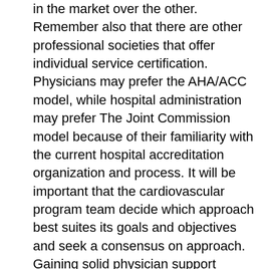in the market over the other. Remember also that there are other professional societies that offer individual service certification. Physicians may prefer the AHA/ACC model, while hospital administration may prefer The Joint Commission model because of their familiarity with the current hospital accreditation organization and process. It will be important that the cardiovascular program team decide which approach best suites its goals and objectives and seek a consensus on approach. Gaining solid physician support should not be underestimated; therefore, the AHA/ACC model may have a credibility edge with the medical staff.